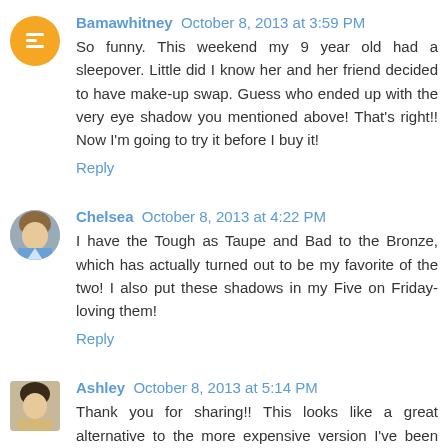Bamawhitney October 8, 2013 at 3:59 PM
So funny. This weekend my 9 year old had a sleepover. Little did I know her and her friend decided to have make-up swap. Guess who ended up with the very eye shadow you mentioned above! That's right!! Now I'm going to try it before I buy it!
Reply
Chelsea October 8, 2013 at 4:22 PM
I have the Tough as Taupe and Bad to the Bronze, which has actually turned out to be my favorite of the two! I also put these shadows in my Five on Friday- loving them!
Reply
Ashley October 8, 2013 at 5:14 PM
Thank you for sharing!! This looks like a great alternative to the more expensive version I've been using!